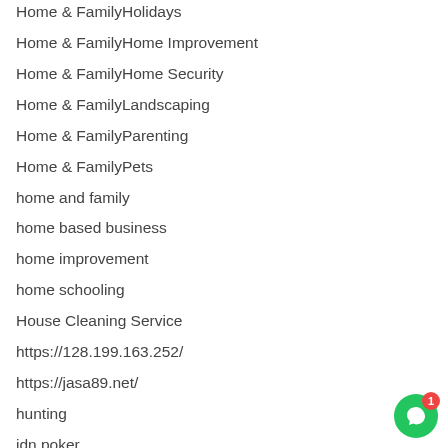Home & FamilyHolidays
Home & FamilyHome Improvement
Home & FamilyHome Security
Home & FamilyLandscaping
Home & FamilyParenting
Home & FamilyPets
home and family
home based business
home improvement
home schooling
House Cleaning Service
https://128.199.163.252/
https://jasa89.net/
hunting
idn poker